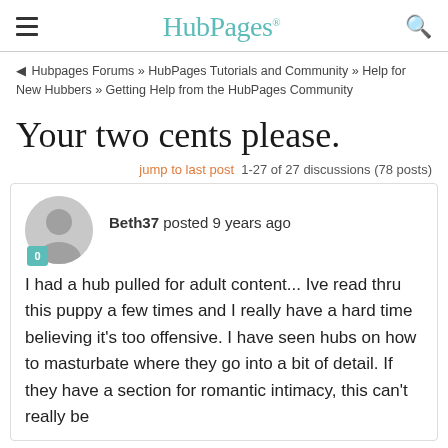HubPages
Hubpages Forums » HubPages Tutorials and Community » Help for New Hubbers » Getting Help from the HubPages Community
Your two cents please.
jump to last post  1-27 of 27 discussions (78 posts)
Beth37 posted 9 years ago
I had a hub pulled for adult content... Ive read thru this puppy a few times and I really have a hard time believing it's too offensive. I have seen hubs on how to masturbate where they go into a bit of detail. If they have a section for romantic intimacy, this can't really be